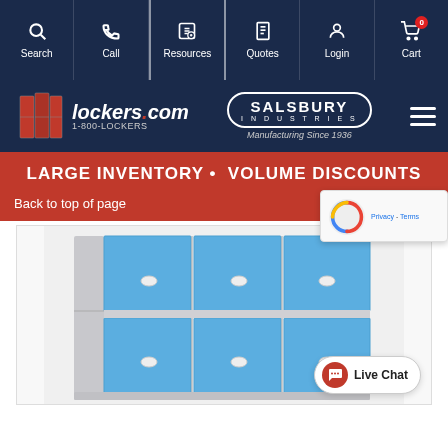Search | Call | Resources | Quotes | Login | Cart (0)
[Figure (logo): lockers.com logo with locker icons and 1-800-LOCKERS text, alongside Salsbury Industries Manufacturing Since 1936 branding and hamburger menu]
LARGE INVENTORY • VOLUME DISCOUNTS
Back to top of page   View a
[Figure (photo): Blue and grey metal lockers arranged in a 3-column, 2-row configuration with oval handle hardware]